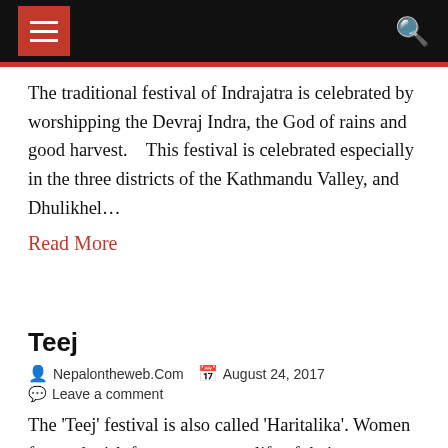Navigation bar with hamburger menu and search icon
The traditional festival of Indrajatra is celebrated by worshipping the Devraj Indra, the God of rains and good harvest.    This festival is celebrated especially in the three districts of the Kathmandu Valley, and Dhulikhel…
Read More
Teej
Nepalontheweb.Com   August 24, 2017   Leave a comment
The 'Teej' festival is also called 'Haritalika'. Women fast and wish for a prosperous life of their spouse on this festival which falls on the third dark day of the lunar month according to Nepali…